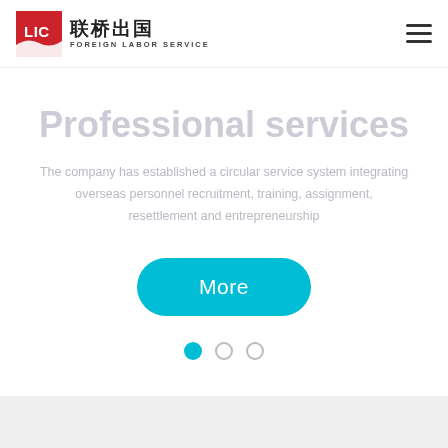[Figure (logo): LIC 联桥出国 Foreign Labor Service logo with red square LIC emblem and Chinese/English text]
Professional services
The company has established a circular service system integrating overseas personnel recruitment, training, assignment, resettlement and entrepreneurship
[Figure (other): Cyan 'More' button with rounded pill shape]
[Figure (other): Slideshow pagination dots: first dot active (cyan), second and third dots empty circles]